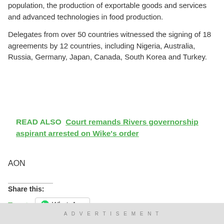population, the production of exportable goods and services and advanced technologies in food production.
Delegates from over 50 countries witnessed the signing of 18 agreements by 12 countries, including Nigeria, Australia, Russia, Germany, Japan, Canada, South Korea and Turkey.
READ ALSO  Court remands Rivers governorship aspirant arrested on Wike's order
AON
Share this:
Tweet
WhatsApp
ADVERTISEMENT